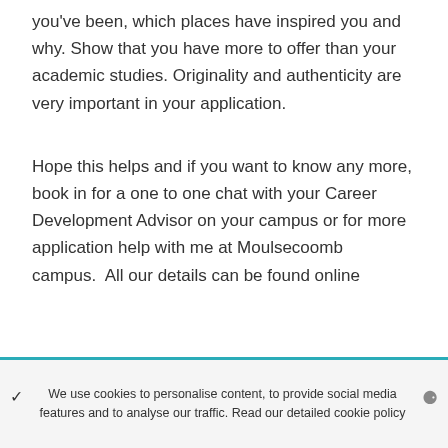you've been, which places have inspired you and why. Show that you have more to offer than your academic studies. Originality and authenticity are very important in your application.
Hope this helps and if you want to know any more, book in for a one to one chat with your Career Development Advisor on your campus or for more application help with me at Moulsecoomb campus.  All our details can be found online
We use cookies to personalise content, to provide social media features and to analyse our traffic. Read our detailed cookie policy